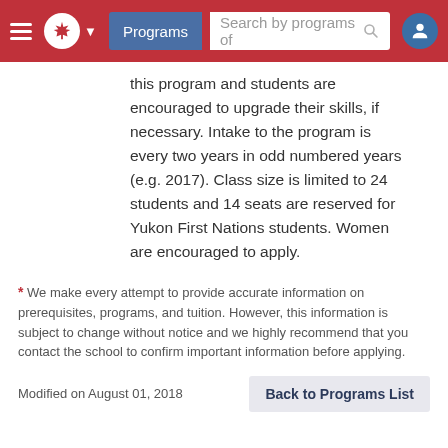Programs | Search by programs of
this program and students are encouraged to upgrade their skills, if necessary. Intake to the program is every two years in odd numbered years (e.g. 2017). Class size is limited to 24 students and 14 seats are reserved for Yukon First Nations students. Women are encouraged to apply.
* We make every attempt to provide accurate information on prerequisites, programs, and tuition. However, this information is subject to change without notice and we highly recommend that you contact the school to confirm important information before applying.
Modified on August 01, 2018